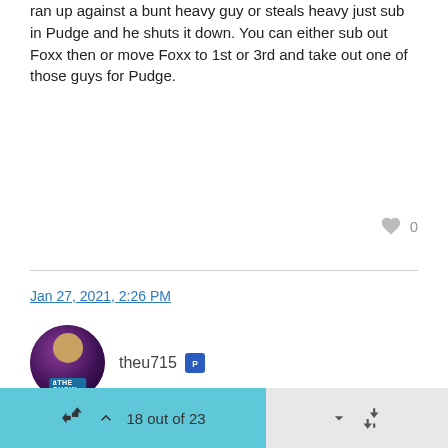This was my favorite setup although. It does up a bench spot. If you ran up against a bunt heavy guy or steals heavy just sub in Pudge and he shuts it down. You can either sub out Foxx then or move Foxx to 1st or 3rd and take out one of those guys for Pudge.
Jan 27, 2021, 2:26 PM
theu715
Man, am I the only person using PS Grandal? He's the only catcher I've been able to hit with. His only flaw is that he's slow as dirt.
18 out of 23